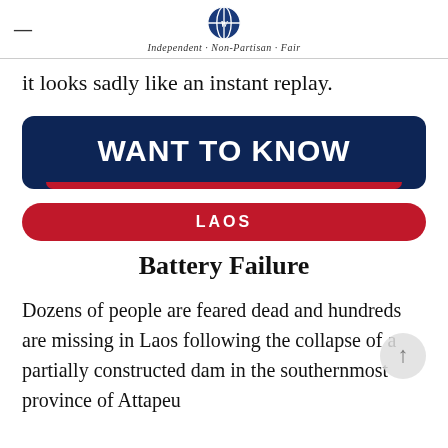Independent · Non-Partisan · Fair
it looks sadly like an instant replay.
[Figure (infographic): Dark navy blue rounded rectangle banner with bold white text reading WANT TO KNOW and a red bar at the bottom]
LAOS
Battery Failure
Dozens of people are feared dead and hundreds are missing in Laos following the collapse of a partially constructed dam in the southernmost province of Attapeu